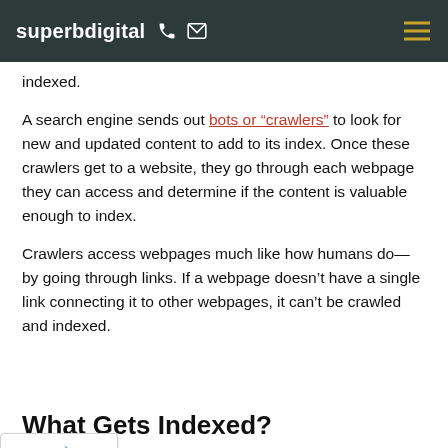superbdigital
indexed.
A search engine sends out bots or "crawlers" to look for new and updated content to add to its index. Once these crawlers get to a website, they go through each webpage they can access and determine if the content is valuable enough to index.
Crawlers access webpages much like how humans do—by going through links. If a webpage doesn't have a single link connecting it to other webpages, it can't be crawled and indexed.
What Gets Indexed?